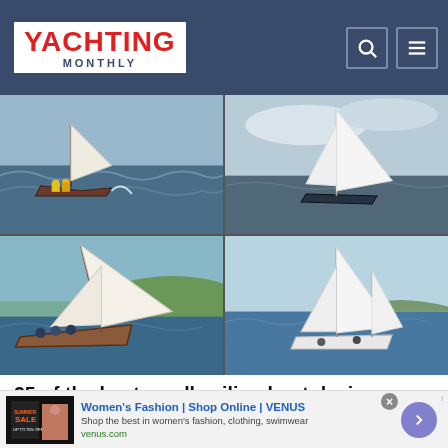YACHTING MONTHLY
[Figure (photo): Four-photo grid showing sailing boats at sea: top-left shows a classic sailboat with crew in rough weather, top-right shows a modern sloop with white sails, bottom-left shows a large classic yacht heeling under sail, bottom-right shows a smaller ketch-rigged sailboat.]
25 of the best small sailing boat designs - Yachting Monthly
Nic Compton looks at the 25 best small sailing boat
[Figure (screenshot): Advertisement banner for Women's Fashion | Shop Online | VENUS. Shows summer sale imagery, text: 'Shop the best in women's fashion, clothing, swimwear', URL: venus.com, with a purple arrow button.]